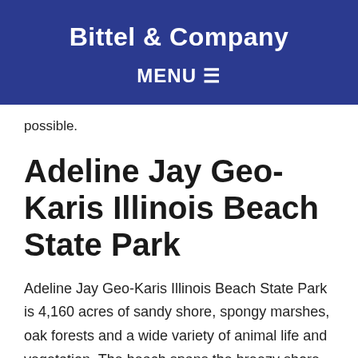Bittel & Company
MENU ☰
possible.
Adeline Jay Geo-Karis Illinois Beach State Park
Adeline Jay Geo-Karis Illinois Beach State Park is 4,160 acres of sandy shore, spongy marshes, oak forests and a wide variety of animal life and vegetation. The beach spans the breezy shore of Lake Michigan in Northern